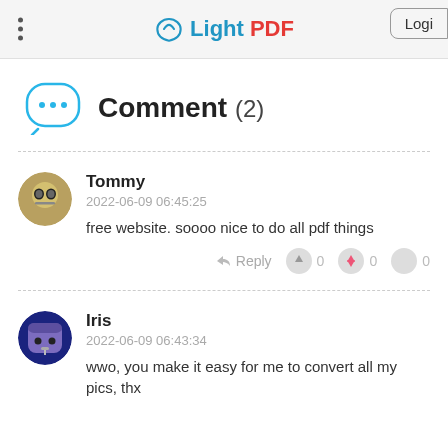LightPDF — Login
Comment (2)
Tommy
2022-06-09 06:45:25
free website. soooo nice to do all pdf things
Iris
2022-06-09 06:43:34
wwo, you make it easy for me to convert all my pics, thx